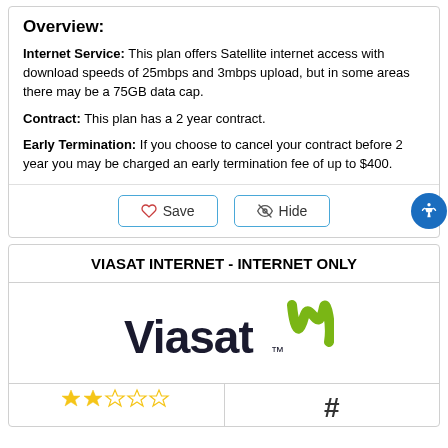Overview:
Internet Service: This plan offers Satellite internet access with download speeds of 25mbps and 3mbps upload, but in some areas there may be a 75GB data cap.
Contract: This plan has a 2 year contract.
Early Termination: If you choose to cancel your contract before 2 year you may be charged an early termination fee of up to $400.
VIASAT INTERNET - INTERNET ONLY
[Figure (logo): Viasat logo with stylized green M symbol]